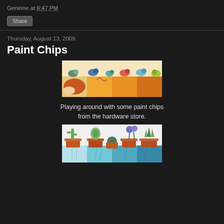Geninne at 6:47 PM
Share
Thursday, August 13, 2009
Paint Chips
[Figure (illustration): Colorful birds perched on paint chip swatches in orange and yellow tones, with small animals below]
Playing around with some paint chips from the hardware store.
[Figure (illustration): Potted plants and succulents displayed on teal/turquoise paint chip swatches]